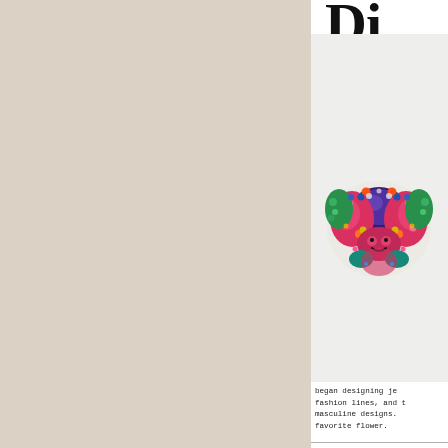Di...
[Figure (photo): Colorful jeweled ring or brooch with purple gemstone and multicolored enamel and crystal decorations]
began designing je... fashion lines, and t... masculine designs. favorite flower.
David Yurman
[Figure (photo): Silver cable bracelet or ring on dark background]